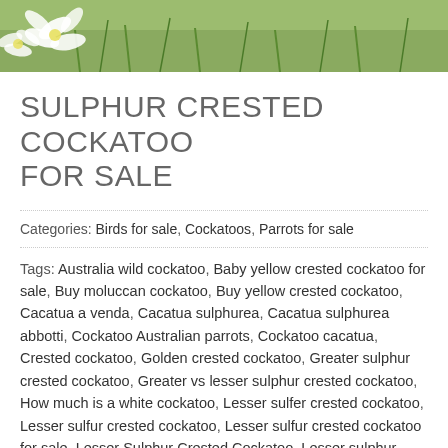[Figure (photo): Partial view of white flowers against green grass background, cropped at top of page]
SULPHUR CRESTED COCKATOO FOR SALE
Categories: Birds for sale, Cockatoos, Parrots for sale
Tags: Australia wild cockatoo, Baby yellow crested cockatoo for sale, Buy moluccan cockatoo, Buy yellow crested cockatoo, Cacatua a venda, Cacatua sulphurea, Cacatua sulphurea abbotti, Cockatoo Australian parrots, Cockatoo cacatua, Crested cockatoo, Golden crested cockatoo, Greater sulphur crested cockatoo, Greater vs lesser sulphur crested cockatoo, How much is a white cockatoo, Lesser sulfer crested cockatoo, Lesser sulfur crested cockatoo, Lesser sulfur crested cockatoo for sale, Lesser Sulphur Crested Cockatoo, Lesser sulphur crested cockatoo care, Lesser sulphur crested cockatoo for sale, Male and Female sulphur crested cockatoo, Sulfur cockatoo, Sulfur parrot, Sulphur cockatoo, Sulphur crested cockatoo female, Sulphur crested